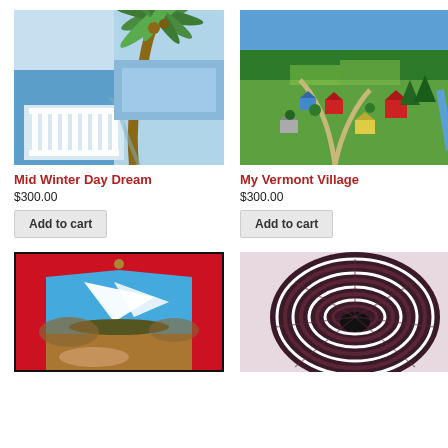[Figure (illustration): Painting of a palm tree leaning over a white balustrade railing with blue sea and sky in background — Mid Winter Day Dream]
Mid Winter Day Dream
$300.00
Add to cart
[Figure (illustration): Folk art aerial painting of a Vermont village with colorful houses, green hills, trees, and winding roads — My Vermont Village]
My Vermont Village
$300.00
Add to cart
[Figure (illustration): Painting showing a view through a window with a sailboat on blue ocean, with red curtains on sides — partially cropped]
[Figure (illustration): Photo or illustration of a woven basket or hat with black and white stripes in circular pattern — partially cropped]